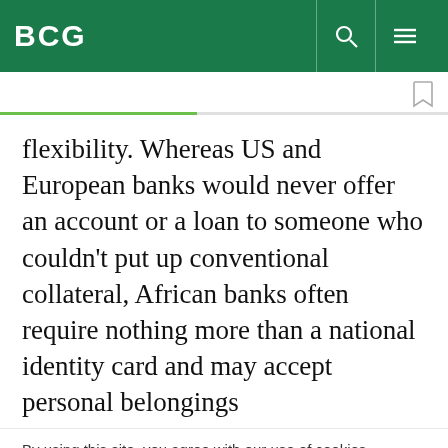BCG
flexibility. Whereas US and European banks would never offer an account or a loan to someone who couldn't put up conventional collateral, African banks often require nothing more than a national identity card and may accept personal belongings
By using this site, you agree with our use of cookies.
I consent to cookies
Want to know more?
Read our Cookie Policy